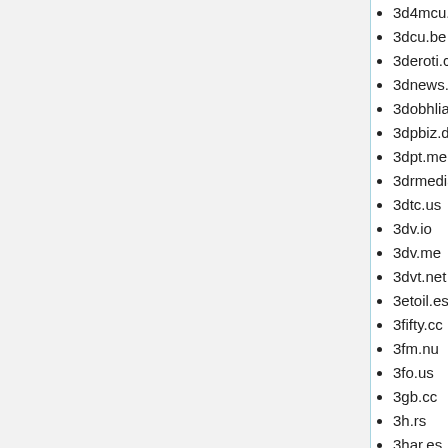3d4mcu.com
3dcu.be
3deroti.ca
3dnews.cz
3dobhliadka.sk
3dpbiz.direct
3dpt.me
3drmedia.com
3dtc.us
3dv.io
3dv.me
3dvt.net
3etoil.es
3fifty.cc
3fm.nu
3fo.us
3gb.cc
3h.rs
3har.es